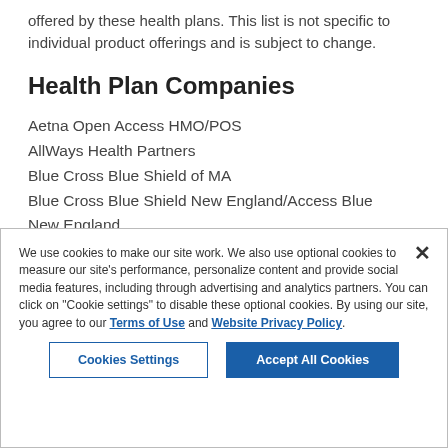offered by these health plans. This list is not specific to individual product offerings and is subject to change.
Health Plan Companies
Aetna Open Access HMO/POS
AllWays Health Partners
Blue Cross Blue Shield of MA
Blue Cross Blue Shield New England/Access Blue New England
We use cookies to make our site work. We also use optional cookies to measure our site's performance, personalize content and provide social media features, including through advertising and analytics partners. You can click on "Cookie settings" to disable these optional cookies. By using our site, you agree to our Terms of Use and Website Privacy Policy.